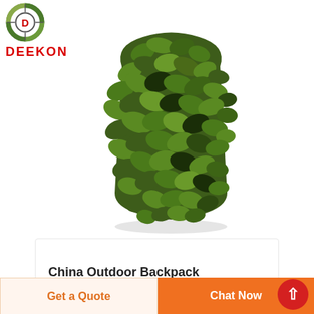[Figure (logo): DEEKON brand logo with circular target/camouflage icon above red bold text DEEKON]
[Figure (photo): A backpack covered in military woodland camouflage netting (green, dark green, brown foliage pattern) photographed against white background]
China Outdoor Backpack
Get a Quote
Chat Now